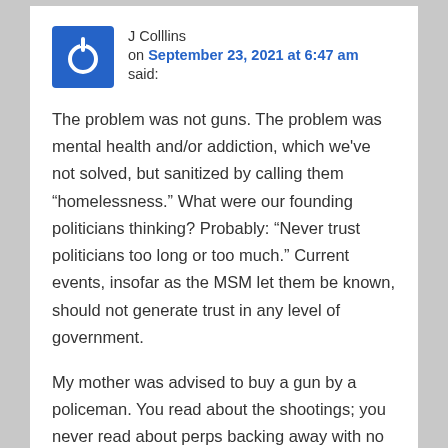J Colllins on September 23, 2021 at 6:47 am said:
The problem was not guns. The problem was mental health and/or addiction, which we've not solved, but sanitized by calling them “homelessness.” What were our founding politicians thinking? Probably: “Never trust politicians too long or too much.” Current events, insofar as the MSM let them be known, should not generate trust in any level of government.
My mother was advised to buy a gun by a policeman. You read about the shootings; you never read about perps backing away with no one hurt when someone drew a gun, as she did subsequently one night, when a young woman went to our house for help while fleeing three men attempting